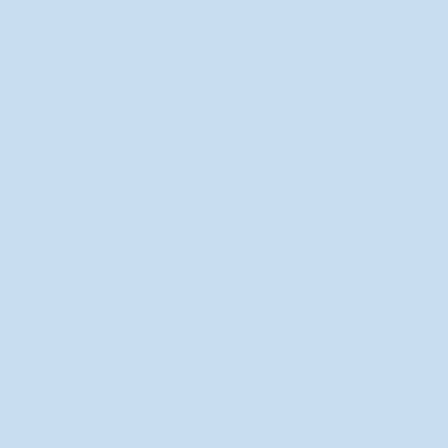[Figure (screenshot): Instagram post interaction bar showing heart (like), comment bubble, and share icons, with 82 likes count and Add a comment... input field]
The androgynous bather's tiny (ti... tube balloons definitely do not ha... statement:
Resistance wears down the... expect suffering in oneself t... as the price one pays for pr...
The bather in art breaks wi... take up this motif invite us t... pleased – without aggressio...
This "other way forward" channel...
In touch with the erotic, I be... which are not native to me...